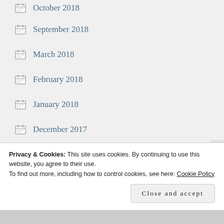October 2018
September 2018
March 2018
February 2018
January 2018
December 2017
November 2017
October 2017
September 2017
August 2017
Privacy & Cookies: This site uses cookies. By continuing to use this website, you agree to their use.
To find out more, including how to control cookies, see here: Cookie Policy